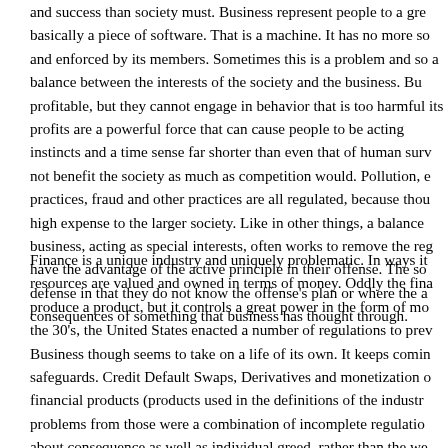and success than society must. Business represent people to a gre basically a piece of software. That is a machine. It has no more so and enforced by its members. Sometimes this is a problem and so a balance between the interests of the society and the business. Bu profitable, but they cannot engage in behavior that is too harmful its profits are a powerful force that can cause people to be acting instincts and a time sense far shorter than even that of human surv not benefit the society as much as competition would. Pollution, e practices, fraud and other practices are all regulated, because thou high expense to the larger society. Like in other things, a balance business, acting as special interests, often works to remove the reg have the advantage of the active principle in their offense. The so defense in that they do not know the offense's plan or where the a consequences of something that business has thought through.
Finance is a unique industry and uniquely problematic. In ways it resources are valued and owned in terms of money. Oddly the fina produce a product, but it controls a great power in the form of mo the 30's, the United States enacted a number of regulations to prev Business though seems to take on a life of its own. It keeps comin safeguards. Credit Default Swaps, Derivatives and monetization o financial products (products used in the definitions of the industr problems from those were a combination of incomplete regulatio about consequence as well as individual greed, rather than the we Another interesting aspect of finance is interest. It is taken for gra finance, but I do not know if it should be taken for granted. I have